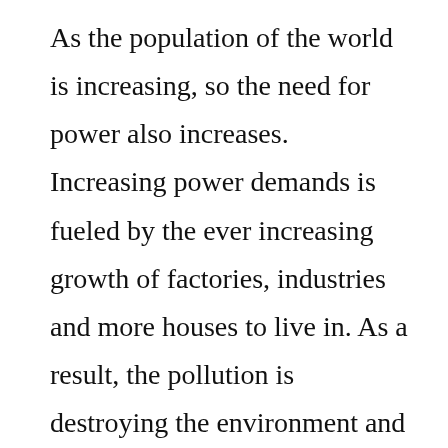As the population of the world is increasing, so the need for power also increases. Increasing power demands is fueled by the ever increasing growth of factories, industries and more houses to live in. As a result, the pollution is destroying the environment and causing ecological imbalance between biotic and non biotic spices.
Non renewable energy sources are also reducing with at a great pace. We are fast running out of crude oil and we can see the